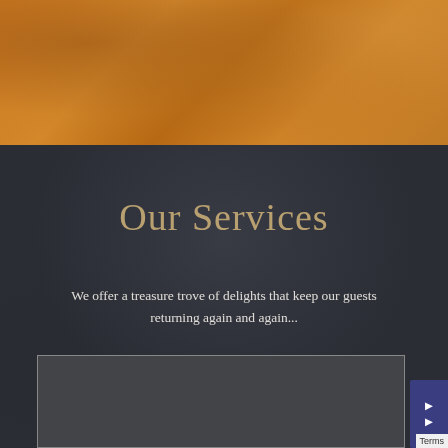[Figure (photo): Top portion of page showing a warm orange/amber toned photo background, partially visible]
Our Services
We offer a treasure trove of delights that keep our guests returning again and again...
[Figure (screenshot): Dark gray rectangular content box, partially cut off at bottom of page, with a blue sidebar element and 'Terms' text visible at right edge]